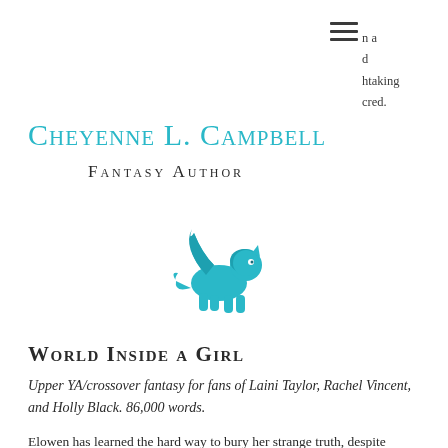Cheyenne L. Campbell
Fantasy Author
[Figure (illustration): Teal/cyan stylized winged lion or griffin creature logo]
World Inside a Girl
Upper YA/crossover fantasy for fans of Laini Taylor, Rachel Vincent, and Holly Black. 86,000 words.
Elowen has learned the hard way to bury her strange truth, despite longing for someone to accept it—to accept her, in spite of it. In every dream, every night, she sees through the eyes of Storie, a creature whose peaceful race in the realm called Eidolia is nothing like human folklore has painted
n a
d
htaking
cred.